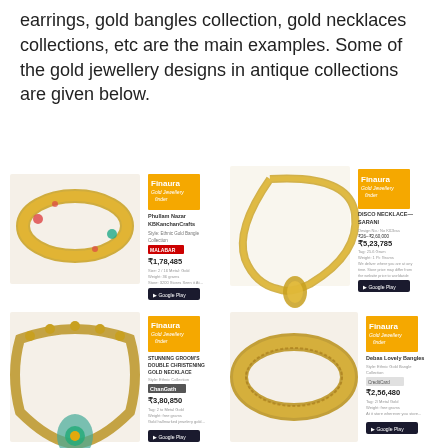earrings, gold bangles collection, gold necklaces collections, etc are the main examples. Some of the gold jewellery designs in antique collections are given below.
[Figure (photo): Four gold jewellery product cards showing antique bangles and necklaces with Finaura branding, prices in rupees, and Google Play badges. Top left: ornate gold bangle with pink and green stones. Top right: gold necklace with pendant. Bottom left: antique gold choker necklace with teal pendant. Bottom right: antique gold filigree bangle.]